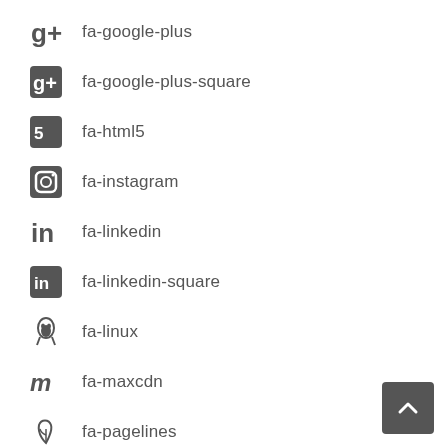fa-google-plus
fa-google-plus-square
fa-html5
fa-instagram
fa-linkedin
fa-linkedin-square
fa-linux
fa-maxcdn
fa-pagelines
fa-pinterest
fa-pinterest-square
fa-renren
fa-skype